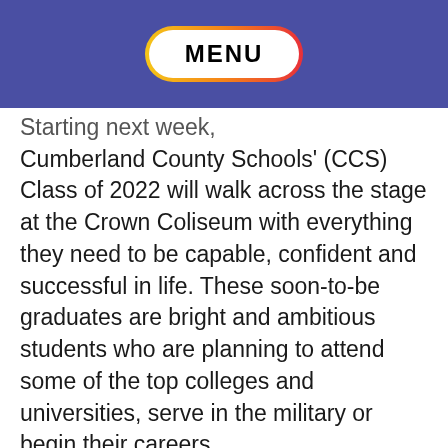MENU
Starting next week, Cumberland County Schools' (CCS) Class of 2022 will walk across the stage at the Crown Coliseum with everything they need to be capable, confident and successful in life. These soon-to-be graduates are bright and ambitious students who are planning to attend some of the top colleges and universities, serve in the military or begin their careers.
'Need to Know' Updates for the Week of May 15,